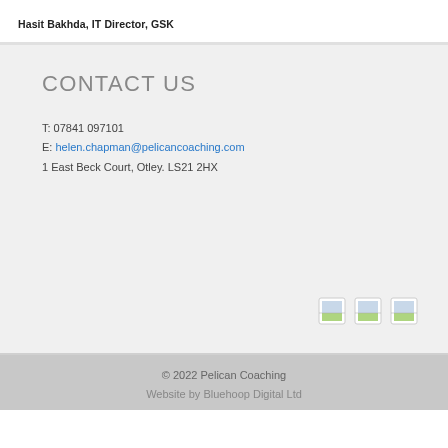Hasit Bakhda, IT Director, GSK
CONTACT US
T: 07841 097101
E: helen.chapman@pelicancoaching.com
1 East Beck Court, Otley. LS21 2HX
[Figure (other): Three small social media or link icon images]
© 2022 Pelican Coaching
Website by Bluehoop Digital Ltd